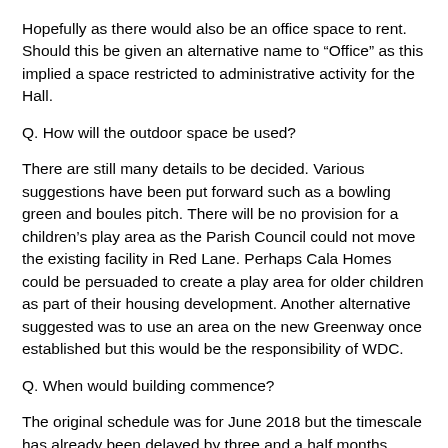Hopefully as there would also be an office space to rent. Should this be given an alternative name to “Office” as this implied a space restricted to administrative activity for the Hall.
Q. How will the outdoor space be used?
There are still many details to be decided. Various suggestions have been put forward such as a bowling green and boules pitch. There will be no provision for a children’s play area as the Parish Council could not move the existing facility in Red Lane. Perhaps Cala Homes could be persuaded to create a play area for older children as part of their housing development. Another alternative suggested was to use an area on the new Greenway once established but this would be the responsibility of WDC.
Q. When would building commence?
The original schedule was for June 2018 but the timescale has already been delayed by three and a half months. HS2